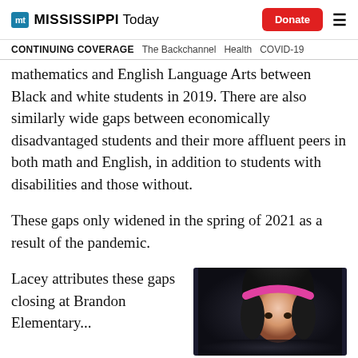MISSISSIPPI TODAY | Donate | Menu
CONTINUING COVERAGE  The Backchannel  Health  COVID-19
mathematics and English Language Arts between Black and white students in 2019. There are also similarly wide gaps between economically disadvantaged students and their more affluent peers in both math and English, in addition to students with disabilities and those without.
These gaps only widened in the spring of 2021 as a result of the pandemic.
Lacey attributes these gaps closing at Brandon Elementary...
[Figure (photo): Portrait photo of a person wearing pink/magenta headband, dark hair, partial view]